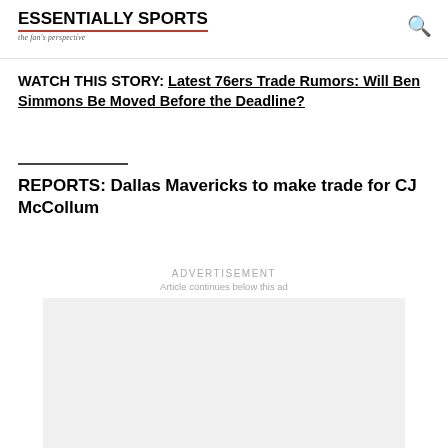ESSENTIALLY SPORTS — the fan's perspective
WATCH THIS STORY: Latest 76ers Trade Rumors: Will Ben Simmons Be Moved Before the Deadline?
REPORTS: Dallas Mavericks to make trade for CJ McCollum
[Figure (other): Advertisement placeholder box (light grey rectangle)]